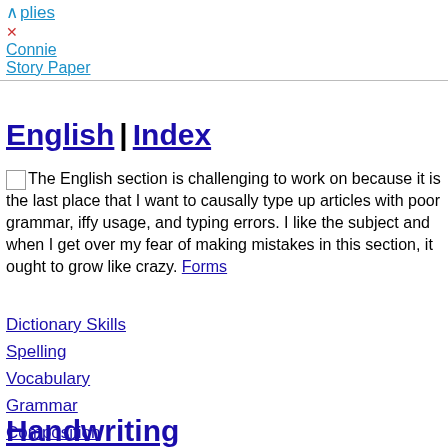plies | Connie | Story Paper
English | Index
The English section is challenging to work on because it is the last place that I want to causally type up articles with poor grammar, iffy usage, and typing errors. I like the subject and when I get over my fear of making mistakes in this section, it ought to grow like crazy.
Forms
Dictionary Skills
Spelling
Vocabulary
Grammar
Composition
Reviews, Books
Handwriting